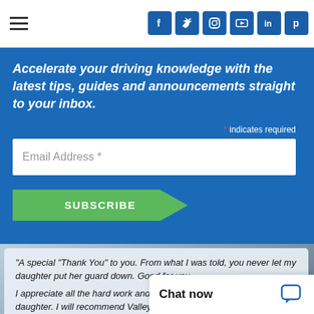Navigation bar with hamburger menu and social media icons (Facebook, Twitter, Instagram, YouTube, LinkedIn, Pinterest)
Accelerate your driving knowledge with the latest tips, guides and announcements straight to your inbox.
* indicates required
Email Address *
SUBSCRIBE
"A special "Thank You" to you. From what I was told, you never let my daughter put her guard down. Good for you.
I appreciate all the hard work and dedication you've given to my daughter. I will recommend Valley Driving School to as many people as I can.
Again, "Thank You" to every
Chat now